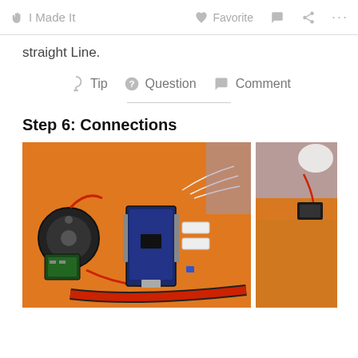I Made It   Favorite   Comment   Share   More
straight Line.
Tip   Question   Comment
Step 6: Connections
[Figure (photo): Photo of an electronics project on an orange surface showing a small motor, Arduino nano board, wires, a ribbon cable connector, and other components assembled together.]
[Figure (photo): Partial photo showing an orange surface with small electronic components, partially visible on the right edge of the page.]